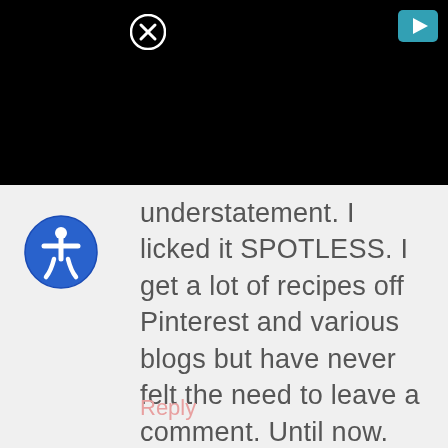[Figure (screenshot): Black video player area with close (X) button top-left and play button top-right]
[Figure (illustration): Blue circular accessibility icon with white wheelchair user figure]
understatement. I licked it SPOTLESS. I get a lot of recipes off Pinterest and various blogs but have never felt the need to leave a comment. Until now. Just wanted to shoot you some props! Bravo!
Reply